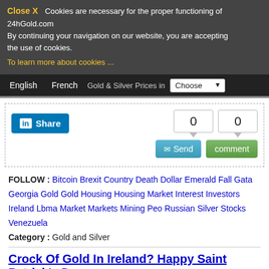Close X  Cookies are necessary for the proper functioning of 24hGold.com. By continuing your navigation on our website, you are accepting the use of cookies.
To learn more about cookies ...
English  French  Gold & Silver Prices in  Choose
[Figure (screenshot): LinkedIn Share button with two count boxes showing 0 and 0, a Send button and a comment button]
FOLLOW : Bitcoin Brexit Country Death Dollar Emerald Fall Gata Georgia Gold Gold Housing Housing Market Interest Investors Ireland Lbma Market Markets Mining Peo Russian Silver Stocks Venezuela
Category : Gold and Silver
Crock Of Gold In Ireland? Happy Saint Patrick's Day
Wishing you health, wealth and good luck this Saint Patrick's
May your home be filled with laughter
May your pockets be filled with gold
And ...